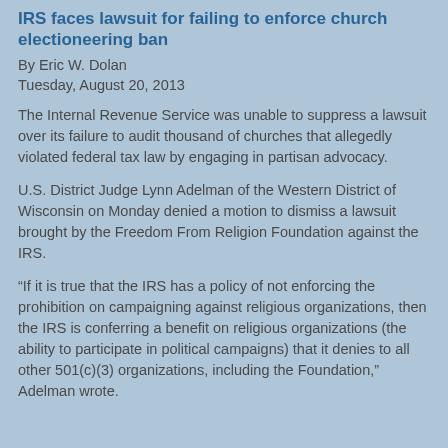IRS faces lawsuit for failing to enforce church electioneering ban
By Eric W. Dolan
Tuesday, August 20, 2013
The Internal Revenue Service was unable to suppress a lawsuit over its failure to audit thousand of churches that allegedly violated federal tax law by engaging in partisan advocacy.
U.S. District Judge Lynn Adelman of the Western District of Wisconsin on Monday denied a motion to dismiss a lawsuit brought by the Freedom From Religion Foundation against the IRS.
“If it is true that the IRS has a policy of not enforcing the prohibition on campaigning against religious organizations, then the IRS is conferring a benefit on religious organizations (the ability to participate in political campaigns) that it denies to all other 501(c)(3) organizations, including the Foundation,” Adelman wrote.